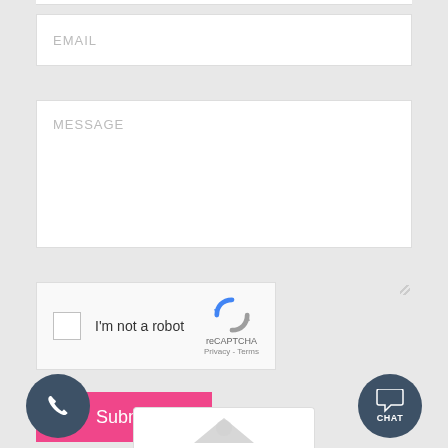[Figure (screenshot): Web contact form showing EMAIL input field, MESSAGE textarea, reCAPTCHA widget, Submit button, phone button, and chat button on a light gray background]
EMAIL
MESSAGE
I'm not a robot
reCAPTCHA
Privacy - Terms
Submit
CHAT